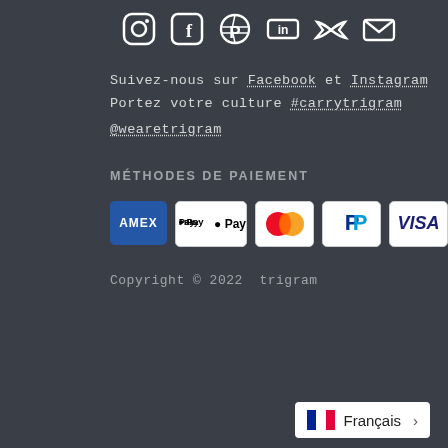[Figure (illustration): Row of social media icons: Instagram, Facebook, Pinterest, LinkedIn, Twitter, Email (white icons on dark background)]
Suivez-nous sur Facebook et Instagram
Portez votre culture #carrytrigram
@wearetrigram
MÉTHODES DE PAIEMENT
[Figure (illustration): Payment method badges: American Express, Apple Pay, Mastercard, PayPal, Visa]
Copyright © 2022  trigram
[Figure (illustration): Language selector showing French flag and 'Français' with a right chevron]